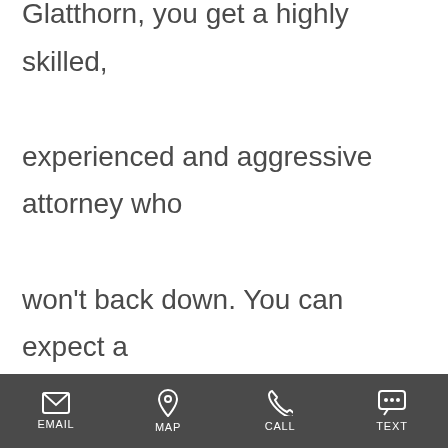Glatthorn, you get a highly skilled, experienced and aggressive attorney who won't back down. You can expect a compassionate advocate who gives you personal attention starting with your very first meeting. You also get an attorney with a long track record of getting results.
EMAIL | MAP | CALL | TEXT